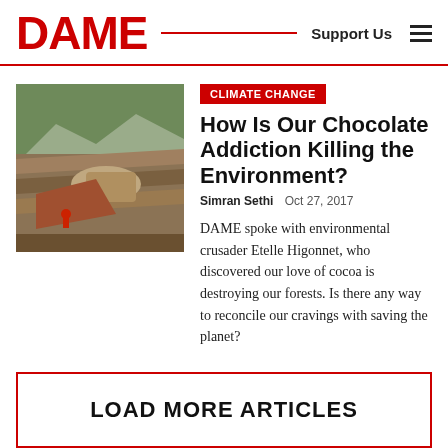DAME | Support Us
[Figure (photo): Aerial or ground-level view of deforested hillside terrain with exposed soil and erosion, worker visible in red clothing]
CLIMATE CHANGE
How Is Our Chocolate Addiction Killing the Environment?
Simran Sethi  Oct 27, 2017
DAME spoke with environmental crusader Etelle Higonnet, who discovered our love of cocoa is destroying our forests. Is there any way to reconcile our cravings with saving the planet?
LOAD MORE ARTICLES